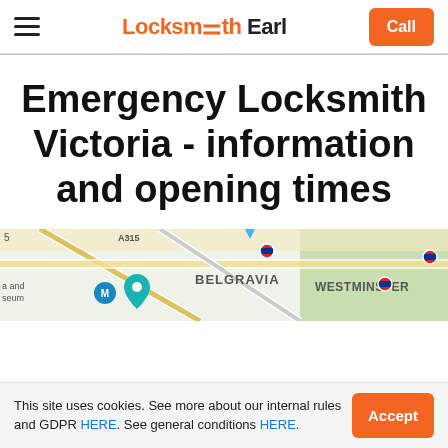Locksmith Earl — navigation header with Call button
Emergency Locksmith Victoria - information and opening times
[Figure (map): Google Maps view showing Belgravia and Westminster area of London with Underground station markers]
This site uses cookies. See more about our internal rules and GDPR HERE. See general conditions HERE.